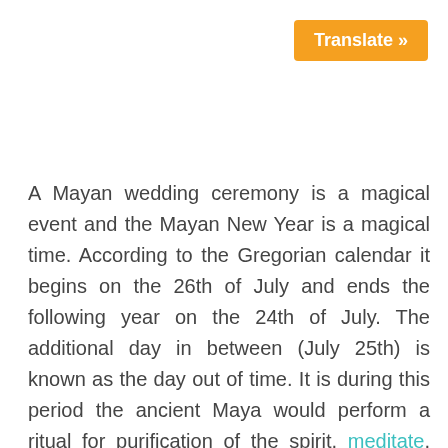[Figure (other): Orange 'Translate »' button in top right corner]
A Mayan wedding ceremony is a magical event and the Mayan New Year is a magical time. According to the Gregorian calendar it begins on the 26th of July and ends the following year on the 24th of July. The additional day in between (July 25th) is known as the day out of time. It is during this period the ancient Maya would perform a ritual for purification of the spirit, meditate, and reflect before the new year begins on the following day.